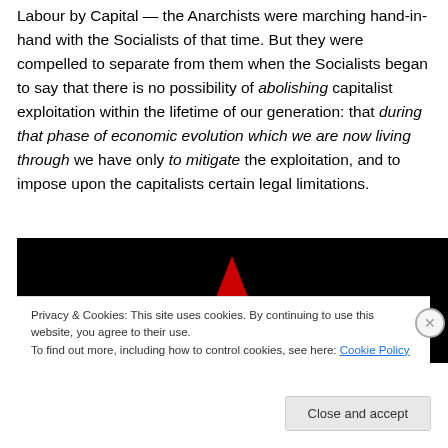Labour by Capital — the Anarchists were marching hand-in-hand with the Socialists of that time. But they were compelled to separate from them when the Socialists began to say that there is no possibility of abolishing capitalist exploitation within the lifetime of our generation: that during that phase of economic evolution which we are now living through we have only to mitigate the exploitation, and to impose upon the capitalists certain legal limitations.
[Figure (screenshot): Dark/black website screenshot with a red triangle/arrow shape visible against the black background, partial website imagery]
Privacy & Cookies: This site uses cookies. By continuing to use this website, you agree to their use.
To find out more, including how to control cookies, see here: Cookie Policy
Close and accept